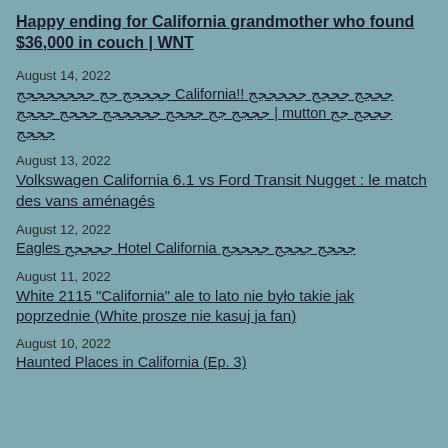Happy ending for California grandmother who found $36,000 in couch | WNT
August 14, 2022
ججججج جج جججججججج California!! جججج جججج جججججج جججج جج جججج جججججج جججج جججج | mutton جججج جج جججج
August 13, 2022
Volkswagen California 6.1 vs Ford Transit Nugget : le match des vans aménagés
August 12, 2022
Eagles ججججج Hotel California جججج جججج ججججج
August 11, 2022
White 2115 "California" ale to lato nie było takie jak poprzednie (White prosze nie kasuj ja fan)
August 10, 2022
Haunted Places in California (Ep. 3)